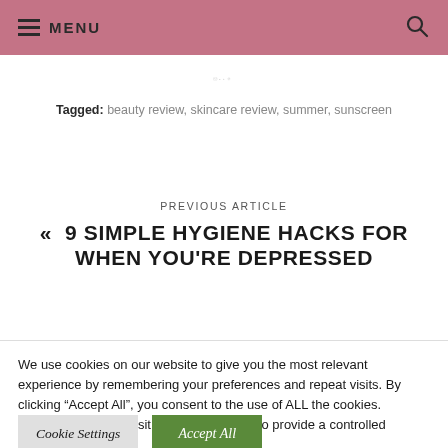MENU
Tagged: beauty review, skincare review, summer, sunscreen
PREVIOUS ARTICLE
« 9 SIMPLE HYGIENE HACKS FOR WHEN YOU'RE DEPRESSED
We use cookies on our website to give you the most relevant experience by remembering your preferences and repeat visits. By clicking “Accept All”, you consent to the use of ALL the cookies. However, you may visit “Cookie Settings” to provide a controlled consent.
Cookie Settings | Accept All